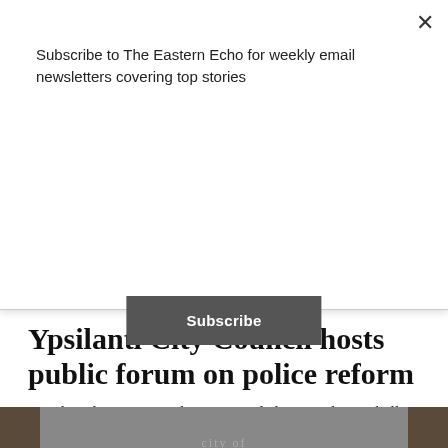Subscribe to The Eastern Echo for weekly email newsletters covering top stories
Subscribe
Ypsilanti City Council hosts public forum on police reform
On Thursday, June 18, dozens attended a virtual town hall forum to discuss racism and police reform in Ypsilanti.
By RONIA-ISABEL CABANSAG
[Figure (photo): Gray panel with City of Ypsilanti logo/seal engraved or embossed, showing the text 'city of Ypsilanti' in stylized lettering with an arch design beneath]